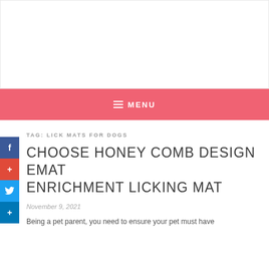[Figure (other): White rectangular placeholder area at top of page, likely an advertisement or logo banner]
≡ MENU
[Figure (other): Social media sidebar buttons: Facebook (f), Google+ (+), Twitter bird, LinkedIn (+)]
TAG: LICK MATS FOR DOGS
CHOOSE HONEY COMB DESIGN EMAT ENRICHMENT LICKING MAT
November 9, 2021
Being a pet parent, you need to ensure your pet must have